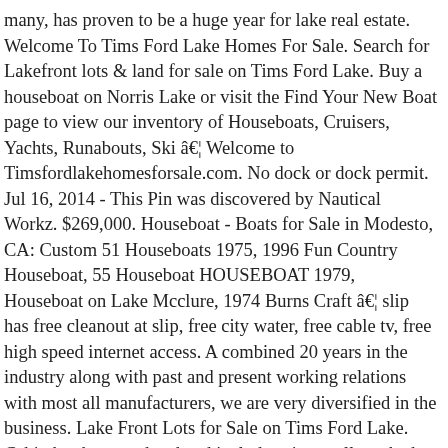many, has proven to be a huge year for lake real estate. Welcome To Tims Ford Lake Homes For Sale. Search for Lakefront lots & land for sale on Tims Ford Lake. Buy a houseboat on Norris Lake or visit the Find Your New Boat page to view our inventory of Houseboats, Cruisers, Yachts, Runabouts, Ski â€¦ Welcome to Timsfordlakehomesforsale.com. No dock or dock permit. Jul 16, 2014 - This Pin was discovered by Nautical Workz. $269,000. Houseboat - Boats for Sale in Modesto, CA: Custom 51 Houseboats 1975, 1996 Fun Country Houseboat, 55 Houseboat HOUSEBOAT 1979, Houseboat on Lake Mcclure, 1974 Burns Craft â€¦ slip has free cleanout at slip, free city water, free cable tv, free high speed internet access. A combined 20 years in the industry along with past and present working relations with most all manufacturers, we are very diversified in the business. Lake Front Lots for Sale on Tims Ford Lake. Cabin has been updated and includes nice, well stocked kitchen as well as a deck (with grill). $500 REFERRAL FOR ALL LISTINGS AND SALES. Points of interest and events. View our inventory of Houseboats, Cruisers, Yachts, Runabouts, Ski Boats, Pontoons, and Floating Homes for sale. Cabins include a private